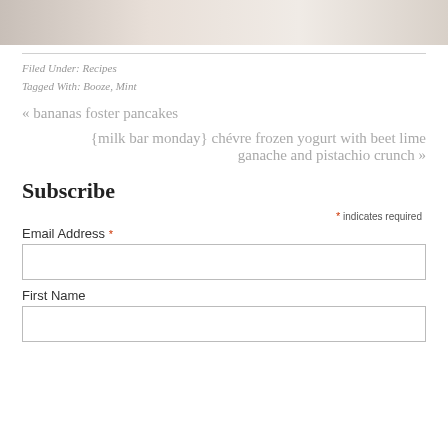[Figure (photo): Partial photo strip at top of page, showing a muted warm-toned image with light and soft textures]
Filed Under: Recipes
Tagged With: Booze, Mint
« bananas foster pancakes
{milk bar monday} chévre frozen yogurt with beet lime ganache and pistachio crunch »
Subscribe
* indicates required
Email Address *
First Name